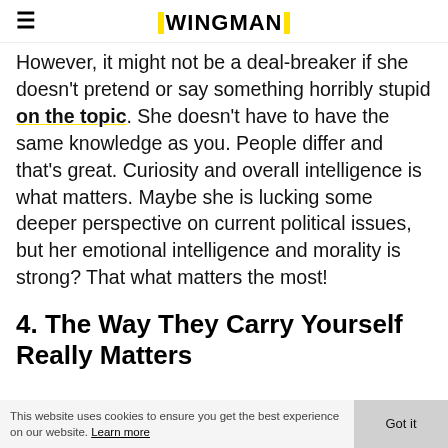WINGMAN
However, it might not be a deal-breaker if she doesn't pretend or say something horribly stupid on the topic. She doesn't have to have the same knowledge as you. People differ and that's great. Curiosity and overall intelligence is what matters. Maybe she is lucking some deeper perspective on current political issues, but her emotional intelligence and morality is strong? That what matters the most!
4. The Way They Carry Yourself Really Matters
This website uses cookies to ensure you get the best experience on our website. Learn more